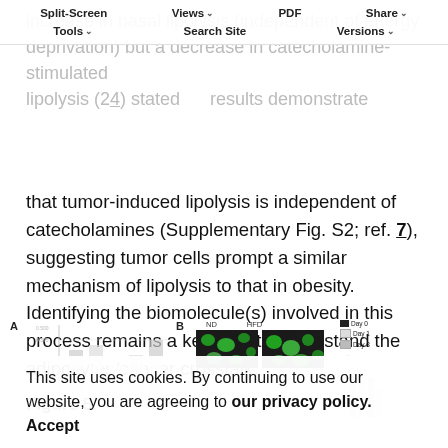increase in basal lipolysis (independent of energy deprivation) but a decrease in catecholamine-stimulated lipolysis (24) stated results demonstrate that tumor-induced lipolysis is independent of catecholamines (Supplementary Fig. S2; ref. 7), suggesting tumor cells prompt a similar mechanism of lipolysis to that in obesity. Identifying the biomolecule(s) involved in this process remains a key step to understand the adipocytes/cancer crosstalk.
Split-Screen | Views | PDF | Share | Tools | Search Site | Versions
Figure 5.
[Figure (other): Figure 5 panels A and B showing fluorescence microscopy images labeled ND and HFD with day 0 legend, partially obscured by cookie notice.]
This site uses cookies. By continuing to use our website, you are agreeing to our privacy policy. Accept